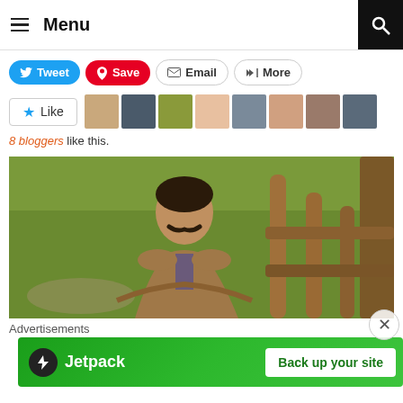Menu
Tweet  Save  Email  More
Like  8 bloggers like this.
[Figure (photo): Man with mustache sitting outdoors near a wooden fence with green grass background]
Advertisements
[Figure (screenshot): Jetpack advertisement banner - Back up your site]